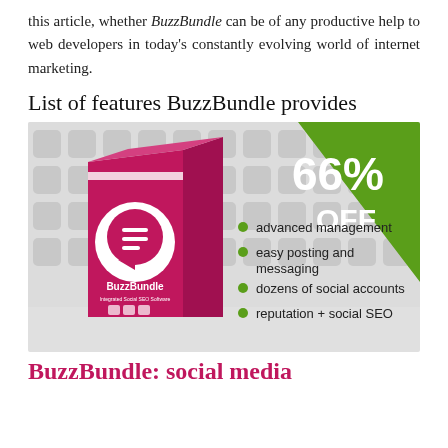this article, whether BuzzBundle can be of any productive help to web developers in today's constantly evolving world of internet marketing.
List of features BuzzBundle provides
[Figure (illustration): BuzzBundle software box advertisement showing 66% OFF banner, social media icons in background, product box with BuzzBundle logo, and feature bullet points: advanced management, easy posting and messaging, dozens of social accounts, reputation + social SEO]
BuzzBundle: social media